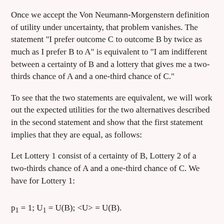Once we accept the Von Neumann-Morgenstern definition of utility under uncertainty, that problem vanishes. The statement "I prefer outcome C to outcome B by twice as much as I prefer B to A" is equivalent to "I am indifferent between a certainty of B and a lottery that gives me a two-thirds chance of A and a one-third chance of C."
To see that the two statements are equivalent, we will work out the expected utilities for the two alternatives described in the second statement and show that the first statement implies that they are equal, as follows:
Let Lottery 1 consist of a certainty of B, Lottery 2 of a two-thirds chance of A and a one-third chance of C. We have for Lottery 1: